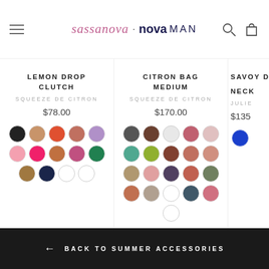sassanova · novaMAN
LEMON DROP CLUTCH
SQUEEZE DE CITRON
$78.00
CITRON BAG MEDIUM
SQUEEZE DE CITRON
$170.00
SAVOY D... NECK...
JULIE...
$135...
← BACK TO SUMMER ACCESSORIES